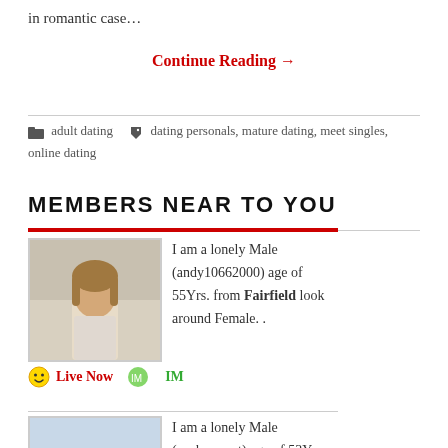in romantic case…
Continue Reading →
adult dating   dating personals, mature dating, meet singles, online dating
MEMBERS NEAR TO YOU
I am a lonely Male (andy10662000) age of 55Yrs. from Fairfield look around Female. .
Live Now   IM
[Figure (photo): Profile photo of a person with long hair, indoor background]
I am a lonely Male (canberracut) age of 53Yrs. from Fairfield look around
[Figure (photo): Profile photo of a person outdoors on a street]